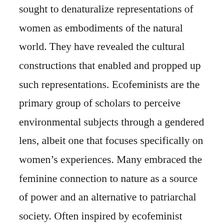sought to denaturalize representations of women as embodiments of the natural world. They have revealed the cultural constructions that enabled and propped up such representations. Ecofeminists are the primary group of scholars to perceive environmental subjects through a gendered lens, albeit one that focuses specifically on women's experiences. Many embraced the feminine connection to nature as a source of power and an alternative to patriarchal society. Often inspired by ecofeminist